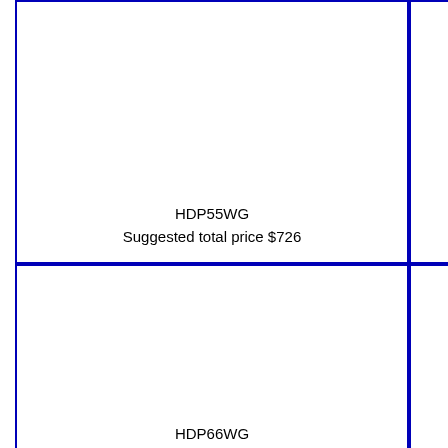HDP55WG
Suggested total price $726
Su
[Figure (illustration): Circular diamond pendant/ring made of round diamonds arranged in a circle, shown in white gold.]
HDP66WG
Suggested total price $451
Su